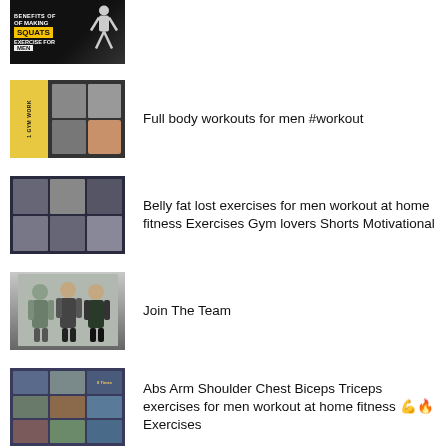[Figure (illustration): Thumbnail image for 'Benefits of making squats exercise for men' with dark background and figure squatting]
[Figure (illustration): Thumbnail image for 'Full body workouts for men #workout' showing a gym workout book/guide with yellow spine]
Full body workouts for men #workout
[Figure (illustration): Thumbnail image for belly fat exercises showing exercise grid]
Belly fat lost exercises for men workout at home fitness Exercises Gym lovers Shorts Motivational
[Figure (photo): Thumbnail showing three people (fitness team) standing together]
Join The Team
[Figure (illustration): Thumbnail showing abs arm shoulder chest workout exercises grid]
Abs Arm Shoulder Chest Biceps Triceps exercises for men workout at home fitness 💪🔥Exercises